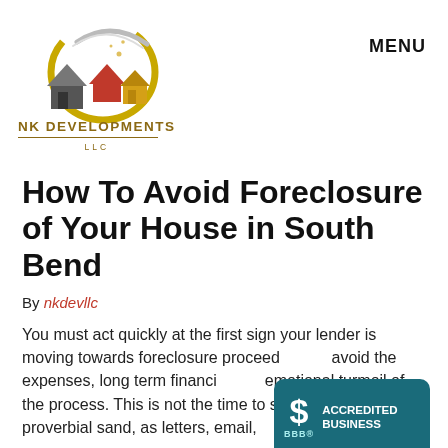[Figure (logo): NK Developments LLC logo with stylized houses and swoosh graphic in grey, red, and gold, with company name below]
MENU
How To Avoid Foreclosure of Your House in South Bend
By nkdevllc
You must act quickly at the first sign your lender is moving towards foreclosure proceed... avoid the expenses, long term financi... emotional turmoil of the process. This is not the time to stick your head in the proverbial sand, as letters, email,
[Figure (logo): BBB Accredited Business badge in teal/dark cyan with dollar sign icon and text ACCREDITED BUSINESS]